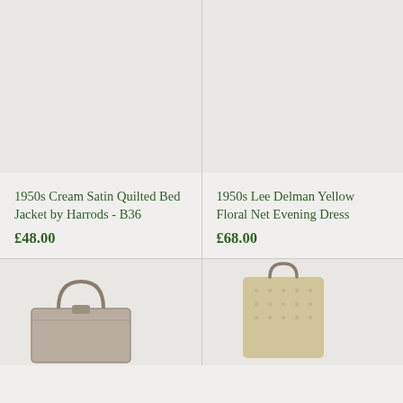[Figure (photo): Product photo of 1950s Cream Satin Quilted Bed Jacket by Harrods, light background]
1950s Cream Satin Quilted Bed Jacket by Harrods - B36
£48.00
[Figure (photo): Product photo of 1950s Lee Delman Yellow Floral Net Evening Dress, light background]
1950s Lee Delman Yellow Floral Net Evening Dress
£68.00
[Figure (photo): Product photo of a vintage handbag, brown/tan colour]
[Figure (photo): Product photo of a vintage knitted or beaded bag]